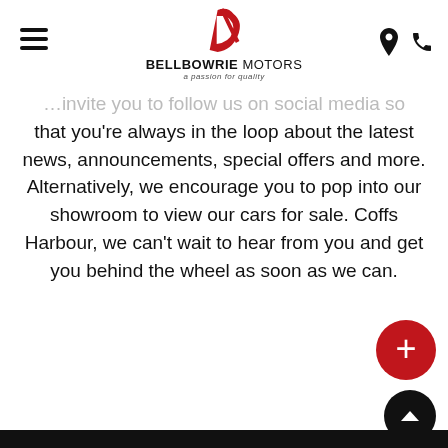Bellbowrie Motors — a passion for quality
…invite you to follow us on social media so that you're always in the loop about the latest news, announcements, special offers and more. Alternatively, we encourage you to pop into our showroom to view our cars for sale. Coffs Harbour, we can't wait to hear from you and get you behind the wheel as soon as we can.